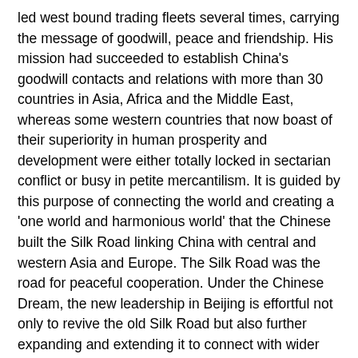led west bound trading fleets several times, carrying the message of goodwill, peace and friendship. His mission had succeeded to establish China's goodwill contacts and relations with more than 30 countries in Asia, Africa and the Middle East, whereas some western countries that now boast of their superiority in human prosperity and development were either totally locked in sectarian conflict or busy in petite mercantilism. It is guided by this purpose of connecting the world and creating a 'one world and harmonious world' that the Chinese built the Silk Road linking China with central and western Asia and Europe. The Silk Road was the road for peaceful cooperation. Under the Chinese Dream, the new leadership in Beijing is effortful not only to revive the old Silk Road but also further expanding and extending it to connect with wider areas in Asia, Europe and Africa.
Peaceful co-existence
Chinese people are aware more than anybody else in the world as to how painful and disgraceful is the foreign intervention and invasion as they suffered humiliation and bullying at the hands of foreign invaders. Thus, peace is most precious for the Chinese people. China is, thus, against any kind of interference and hegemonic behavior in anywhere in the world. The stunning